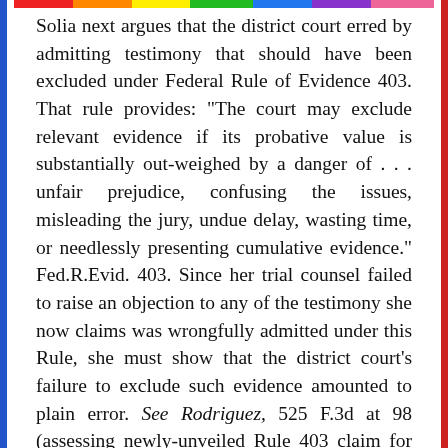Solia next argues that the district court erred by admitting testimony that should have been excluded under Federal Rule of Evidence 403. That rule provides: "The court may exclude relevant evidence if its probative value is substantially out-weighed by a danger of . . . unfair prejudice, confusing the issues, misleading the jury, undue delay, wasting time, or needlessly presenting cumulative evidence." Fed.R.Evid. 403. Since her trial counsel failed to raise an objection to any of the testimony she now claims was wrongfully admitted under this Rule, she must show that the district court's failure to exclude such evidence amounted to plain error. See Rodriguez, 525 F.3d at 98 (assessing newly-unveiled Rule 403 claim for plain error). This she cannot do.
1.  Delgado's Shooting
On direct examination, Delgado began testifying